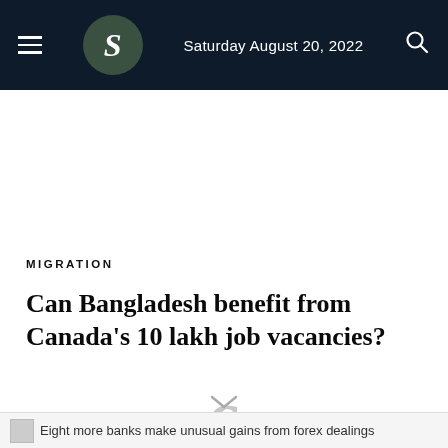Saturday August 20, 2022
MIGRATION
Can Bangladesh benefit from Canada's 10 lakh job vacancies?
6
Eight more banks make unusual gains from forex dealings